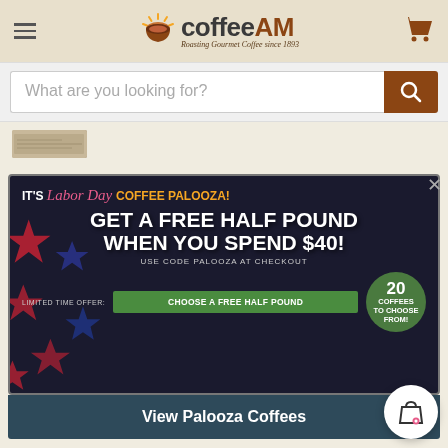coffeeAM — Roasting Gourmet Coffee since 1893
What are you looking for?
[Figure (screenshot): Small thumbnail image, appears to be a coffee product]
[Figure (infographic): Labor Day Coffee Palooza promotional banner. GET A FREE HALF POUND WHEN YOU SPEND $40! USE CODE PALOOZA AT CHECKOUT. LIMITED TIME OFFER: CHOOSE A FREE HALF POUND. 20 COFFEES TO CHOOSE FROM!]
View Palooza Coffees